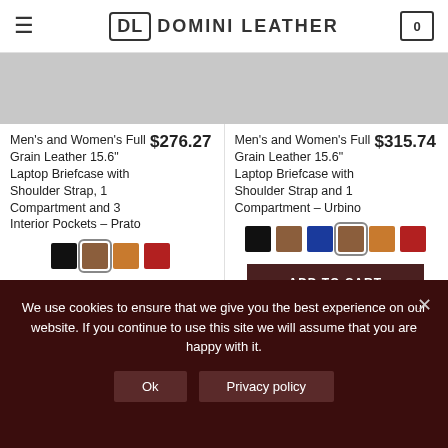DOMINI LEATHER
Men's and Women's Full Grain Leather 15.6” Laptop Briefcase with Shoulder Strap, 1 Compartment and 3 Interior Pockets – Prato  $276.27
Men's and Women's Full Grain Leather 15.6” Laptop Briefcase with Shoulder Strap and 1 Compartment – Urbino  $315.74
We use cookies to ensure that we give you the best experience on our website. If you continue to use this site we will assume that you are happy with it.